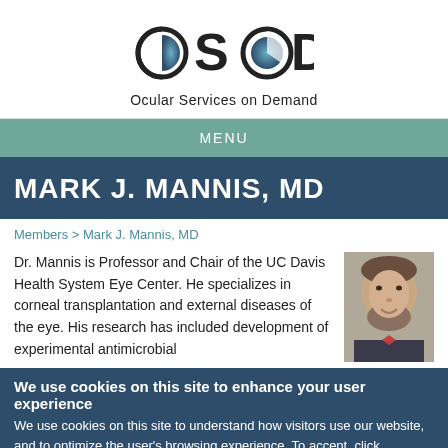[Figure (logo): OSOD logo with circular icon elements and text 'Ocular Services on Demand']
MENU
MARK J. MANNIS, MD
Members > Mark J. Mannis, MD
Dr. Mannis is Professor and Chair of the UC Davis Health System Eye Center. He specializes in corneal transplantation and external diseases of the eye. His research has included development of experimental antimicrobial
[Figure (photo): Portrait photo of Dr. Mark J. Mannis, an older man with a beard wearing a suit and bow tie]
We use cookies on this site to enhance your user experience
We use cookies on this site to understand how visitors use our website, and to optimize the user's browsing experience. To accept, click continue. To learn more about cookies and how to change your browser's preferences, please visit